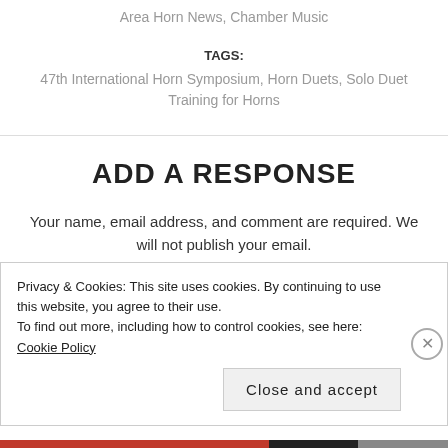Area Horn News, Chamber Music
TAGS:
47th International Horn Symposium, Horn Duets, Solo Duet Training for Horns
ADD A RESPONSE
Your name, email address, and comment are required. We will not publish your email.
Privacy & Cookies: This site uses cookies. By continuing to use this website, you agree to their use.
To find out more, including how to control cookies, see here: Cookie Policy
Close and accept